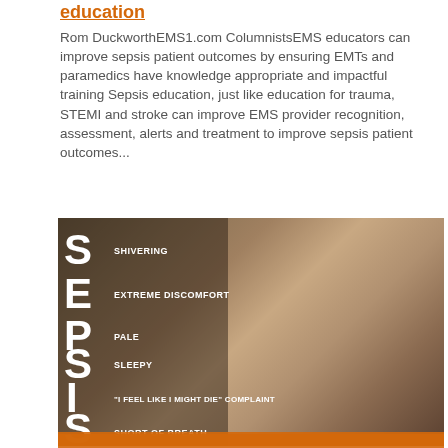education
Rom DuckworthEMS1.com ColumnistsEMS educators can improve sepsis patient outcomes by ensuring EMTs and paramedics have knowledge appropriate and impactful training Sepsis education, just like education for trauma, STEMI and stroke can improve EMS provider recognition, assessment, alerts and treatment to improve sepsis patient outcomes...
[Figure (photo): Photo of a young boy lying down wearing an oxygen mask, with white gloved hands attending to him. Overlaid text spells out SEPSIS acronym: S - SHIVERING, E - EXTREME DISCOMFORT, P - PALE, S - SLEEPY, I - 'I FEEL LIKE I MIGHT DIE' COMPLAINT, S - SHORT OF BREATH]